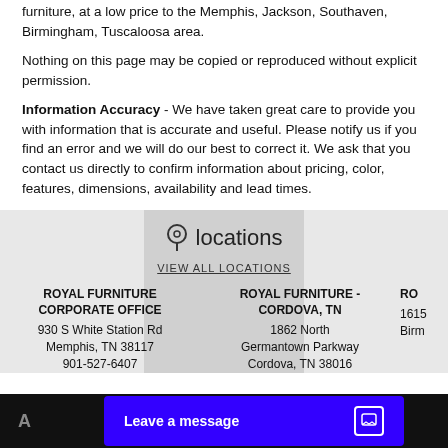furniture, at a low price to the Memphis, Jackson, Southaven, Birmingham, Tuscaloosa area.
Nothing on this page may be copied or reproduced without explicit permission.
Information Accuracy - We have taken great care to provide you with information that is accurate and useful. Please notify us if you find an error and we will do our best to correct it. We ask that you contact us directly to confirm information about pricing, color, features, dimensions, availability and lead times.
locations
VIEW ALL LOCATIONS
ROYAL FURNITURE CORPORATE OFFICE
930 S White Station Rd
Memphis, TN 38117
901-527-6407
ROYAL FURNITURE - CORDOVA, TN
1862 North Germantown Parkway
Cordova, TN 38016
RO
1615
Birm
Leave a message